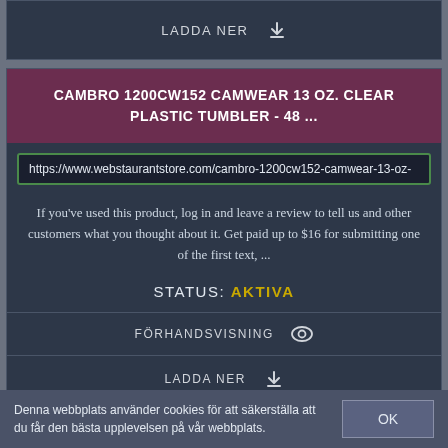LADDA NER
CAMBRO 1200CW152 CAMWEAR 13 OZ. CLEAR PLASTIC TUMBLER - 48 ...
https://www.webstaurantstore.com/cambro-1200cw152-camwear-13-oz-
If you've used this product, log in and leave a review to tell us and other customers what you thought about it. Get paid up to $16 for submitting one of the first text, ...
STATUS: AKTIVA
FÖRHANDSVISNING
LADDA NER
Denna webbplats använder cookies för att säkerställa att du får den bästa upplevelsen på vår webbplats.